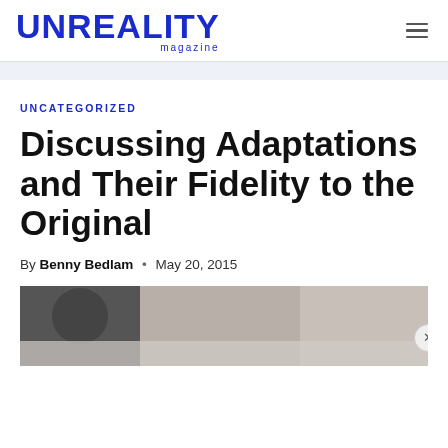UNREALITY magazine
UNCATEGORIZED
Discussing Adaptations and Their Fidelity to the Original
By Benny Bedlam · May 20, 2015
[Figure (photo): A partially visible photograph showing a person and some objects, partially cropped at the bottom of the page.]